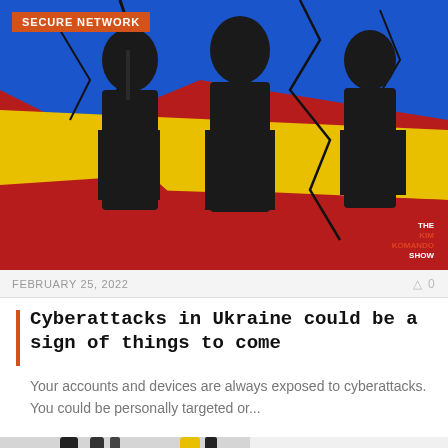[Figure (photo): Silhouettes of armed soldiers against a cracked wall painted with the Ukrainian flag colors (blue, yellow, red). The Kim Komando Show watermark visible in the bottom right.]
SECURE NETWORK
FEBRUARY 25, 2022    0 0
Cyberattacks in Ukraine could be a sign of things to come
Your accounts and devices are always exposed to cyberattacks. You could be personally targeted or...
[Figure (photo): Partial view of a second article image showing cables/wires on a light background. Badge reading SECURE NETWORK.]